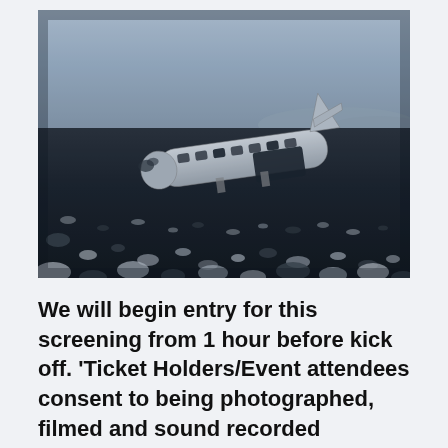[Figure (photo): A photograph of a wrecked airplane fuselage lying on a dark volcanic black sand beach under a overcast blue-grey sky. The wreckage is rusted and broken, with the nose tilted upward and the body resting on the ground. The foreground shows the black rocky beach with scattered stones.]
We will begin entry for this screening from 1 hour before kick off. 'Ticket Holders/Event attendees consent to being photographed, filmed and sound recorded